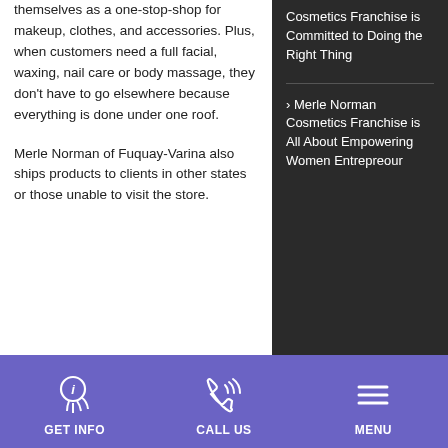themselves as a one-stop-shop for makeup, clothes, and accessories. Plus, when customers need a full facial, waxing, nail care or body massage, they don't have to go elsewhere because everything is done under one roof.
Merle Norman of Fuquay-Varina also ships products to clients in other states or those unable to visit the store.
Cosmetics Franchise is Committed to Doing the Right Thing
› Merle Norman Cosmetics Franchise is All About Empowering Women Entrepreneur
[Figure (infographic): Purple footer bar with three navigation icons: GET INFO (info/hand icon), CALL US (phone icon), MENU (hamburger menu icon)]